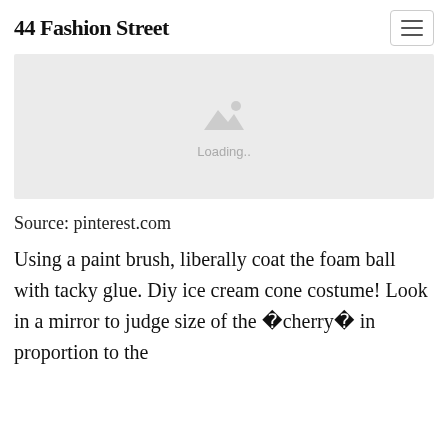44 Fashion Street
[Figure (photo): Image placeholder with mountain/photo icon and 'Loading..' text on a light grey background]
Source: pinterest.com
Using a paint brush, liberally coat the foam ball with tacky glue. Diy ice cream cone costume! Look in a mirror to judge size of the �cherry� in proportion to the